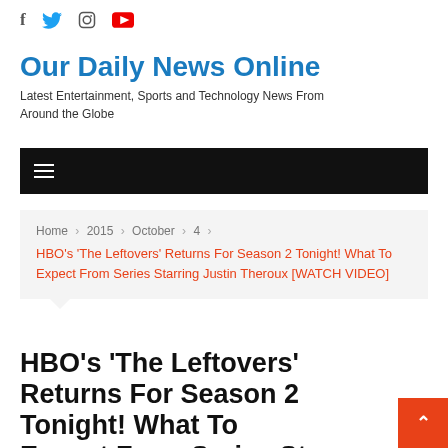f [twitter] [instagram] [youtube]
Our Daily News Online
Latest Entertainment, Sports and Technology News From Around the Globe
[Figure (other): Black navigation bar with hamburger menu icon]
Home > 2015 > October > 4 > HBO's 'The Leftovers' Returns For Season 2 Tonight! What To Expect From Series Starring Justin Theroux [WATCH VIDEO]
HBO's 'The Leftovers' Returns For Season 2 Tonight! What To Expect From Series Starring Justin Theroux